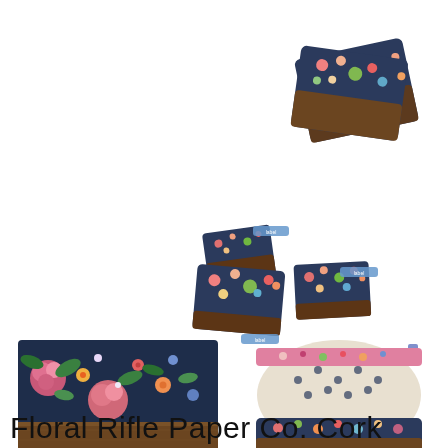[Figure (photo): Three small floral and cork pouches/wallets of different sizes shown scattered with small blue labels, viewed from above on white background]
[Figure (photo): Stack of floral and cork fabric pouches fanned out, dark brown cork bottom panels, viewed from above at an angle on white background]
[Figure (photo): Close-up of dark navy floral fabric with large colorful flowers and dark cork material at bottom edge]
[Figure (photo): Open floral zipper pouch showing polka-dot lining inside, colorful floral exterior fabric visible]
Floral Rifle Paper Co. Cork